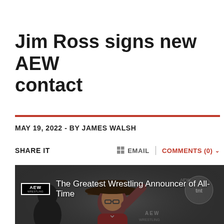Jim Ross signs new AEW contact
MAY 19, 2022 - BY JAMES WALSH
SHARE IT   EMAIL | COMMENTS (0)
[Figure (screenshot): AEW video thumbnail showing a man in a cowboy hat raising his hand, with text 'The Greatest Wrestling Announcer of All-Time' and the AEW logo.]